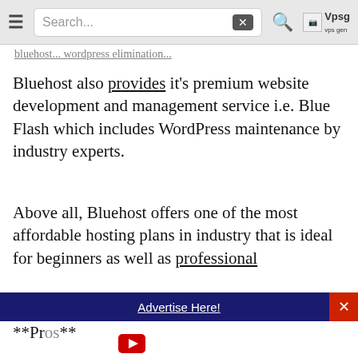Search...
Bluehost also provides it’s premium website development and management service i.e. Blue Flash which includes WordPress maintenance by industry experts.
Above all, Bluehost offers one of the most affordable hosting plans in industry that is ideal for beginners as well as professional
**Bluehost Pros and Cons**
**Pros**
Advertise Here!